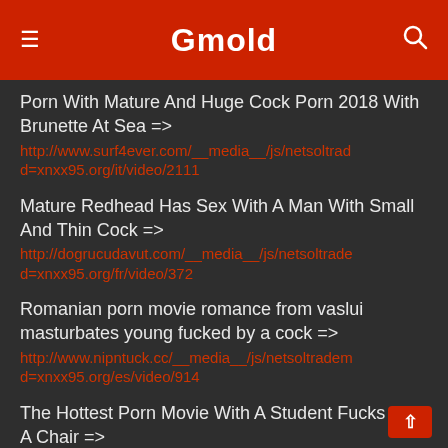Gmold
Porn With Mature And Huge Cock Porn 2018 With Brunette At Sea => http://www.surf4ever.com/__media__/js/netsoltrade d=xnxx95.org/it/video/2111
Mature Redhead Has Sex With A Man With Small And Thin Cock => http://dogrucudavut.com/__media__/js/netsoltrade d=xnxx95.org/fr/video/372
Romanian porn movie romance from vaslui masturbates young fucked by a cock => http://www.nipntuck.cc/__media__/js/netsoltradem d=xnxx95.org/es/video/914
The Hottest Porn Movie With A Student Fucks On A Chair => http://www.ibits.net/__media__/js/netsoltrademark d=xnxx95.org/de/video/740